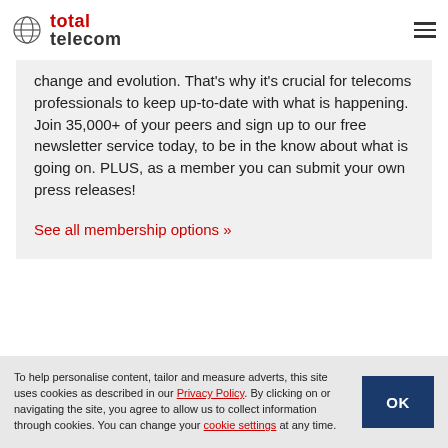total telecom
change and evolution. That's why it's crucial for telecoms professionals to keep up-to-date with what is happening. Join 35,000+ of your peers and sign up to our free newsletter service today, to be in the know about what is going on. PLUS, as a member you can submit your own press releases!
See all membership options »
To help personalise content, tailor and measure adverts, this site uses cookies as described in our Privacy Policy. By clicking on or navigating the site, you agree to allow us to collect information through cookies. You can change your cookie settings at any time.